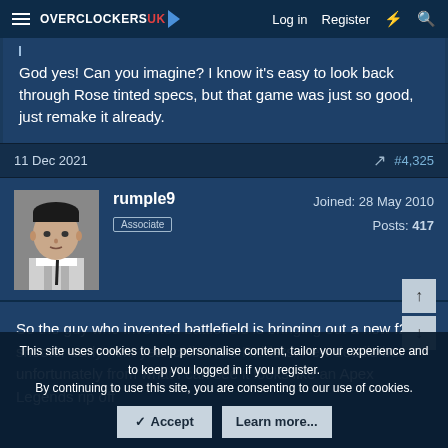Overclockers UK — Log in | Register
God yes! Can you imagine? I know it's easy to look back through Rose tinted specs, but that game was just so good, just remake it already.
11 Dec 2021  #4,325
rumple9
Associate
Joined: 28 May 2010
Posts: 417
So the guy who invented battlefield is bringing out a new f2p shooter early next year called Arc Raiders. Few details but unfortunately from what I can see it looks like an Apex Legends rip off
This site uses cookies to help personalise content, tailor your experience and to keep you logged in if you register.
By continuing to use this site, you are consenting to our use of cookies.